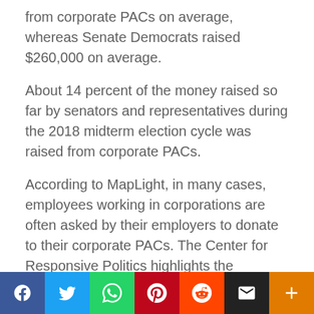from corporate PACs on average, whereas Senate Democrats raised $260,000 on average.
About 14 percent of the money raised so far by senators and representatives during the 2018 midterm election cycle was raised from corporate PACs.
According to MapLight, in many cases, employees working in corporations are often asked by their employers to donate to their corporate PACs. The Center for Responsive Politics highlights the following corporations as the largest PAC donors to Congress members for the 2018 election:
[Figure (other): Social media share bar with buttons for Facebook, Twitter, WhatsApp, Pinterest, Reddit, Email, and More]